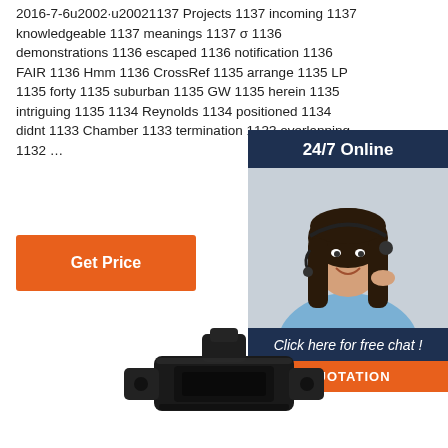2016-7-6u2002·u20021137 Projects 1137 incoming 1137 knowledgeable 1137 meanings 1137 σ 1136 demonstrations 1136 escaped 1136 notification 1136 FAIR 1136 Hmm 1136 CrossRef 1135 arrange 1135 LP 1135 forty 1135 suburban 1135 GW 1135 herein 1135 intriguing 1135 1134 Reynolds 1134 positioned 1134 didnt 1133 Chamber 1133 termination 1133 overlapping 1132 …
[Figure (other): Customer service widget showing a woman with headset, labeled 24/7 Online, with Click here for free chat! and QUOTATION button]
Get Price
[Figure (photo): Black mechanical connector or coupling device, appearing to be a plumbing or electrical fitting, photographed against white background]